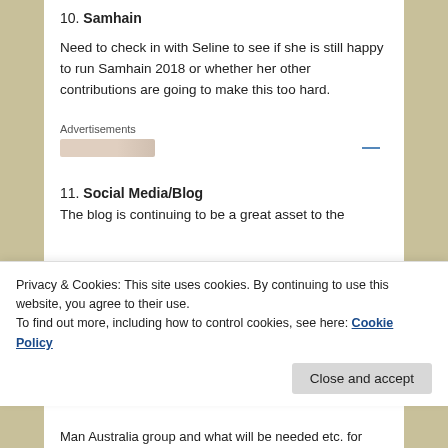10. Samhain
Need to check in with Seline to see if she is still happy to run Samhain 2018 or whether her other contributions are going to make this too hard.
Advertisements
11. Social Media/Blog
The blog is continuing to be a great asset to the
Privacy & Cookies: This site uses cookies. By continuing to use this website, you agree to their use.
To find out more, including how to control cookies, see here: Cookie Policy
Close and accept
Man Australia group and what will be needed etc. for